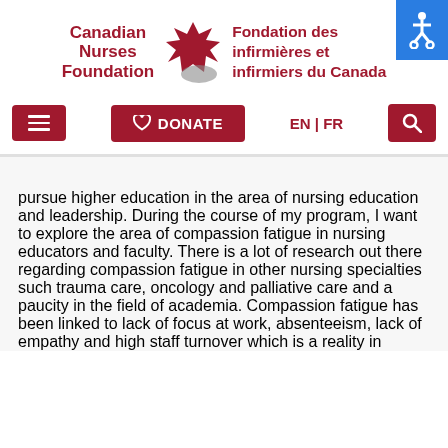[Figure (logo): Canadian Nurses Foundation logo with maple leaf and French name Fondation des infirmières et infirmiers du Canada]
[Figure (other): Navigation bar with hamburger menu, DONATE button, EN|FR language switch, and search icon]
pursue higher education in the area of nursing education and leadership. During the course of my program, I want to explore the area of compassion fatigue in nursing educators and faculty. There is a lot of research out there regarding compassion fatigue in other nursing specialties such trauma care, oncology and palliative care and a paucity in the field of academia. Compassion fatigue has been linked to lack of focus at work, absenteeism, lack of empathy and high staff turnover which is a reality in